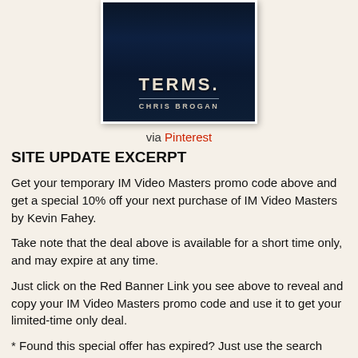[Figure (illustration): Dark blue book cover with large text 'TERMS.' and author name 'CHRIS BROGAN' below, displayed in a white-bordered frame]
via Pinterest
SITE UPDATE EXCERPT
Get your temporary IM Video Masters promo code above and get a special 10% off your next purchase of IM Video Masters by Kevin Fahey.
Take note that the deal above is available for a short time only, and may expire at any time.
Just click on the Red Banner Link you see above to reveal and copy your IM Video Masters promo code and use it to get your limited-time only deal.
* Found this special offer has expired? Just use the search textbox up above to find the most recently released